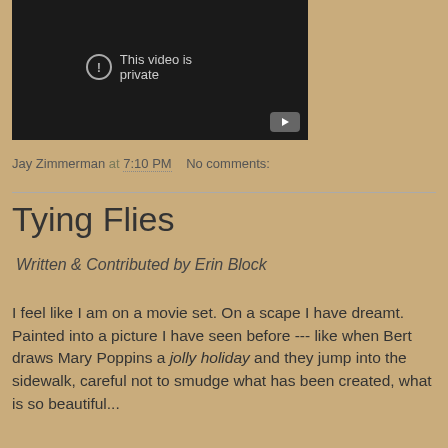[Figure (screenshot): Embedded video player with dark background showing 'This video is private' message with a play button in the bottom-right corner.]
Jay Zimmerman at 7:10 PM   No comments:
Tying Flies
Written & Contributed by Erin Block
I feel like I am on a movie set. On a scape I have dreamt. Painted into a picture I have seen before --- like when Bert draws Mary Poppins a jolly holiday and they jump into the sidewalk, careful not to smudge what has been created, what is so beautiful...